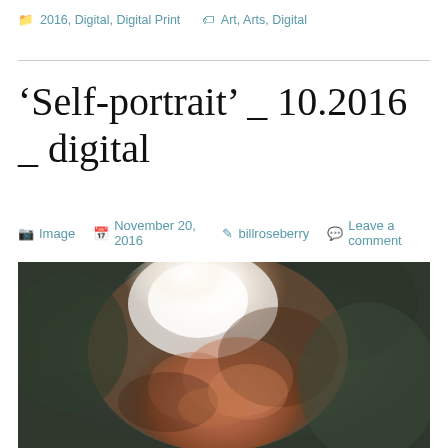📁 2016, Digital, Digital Print  🏷 Art, Arts, Digital
'Self-portrait' _ 10.2016 _ digital
🖷 Image  📅 November 20, 2016  👤 billroseberry  💬 Leave a comment
[Figure (photo): A digital self-portrait image showing an abstracted, painterly rendering of a human head/face viewed from above-front, with bright white highlights on the crown and warm reddish-brown tones on the face, set against a dark grey-green background.]